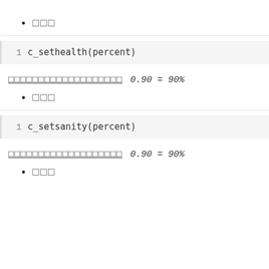□□□
1  c_sethealth(percent)
□□□
1  c_setsanity(percent)
□□□